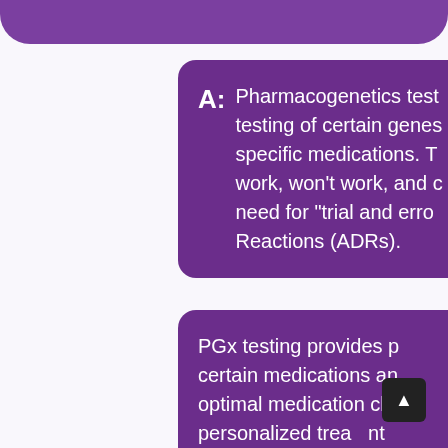A: Pharmacogenetics testing (PGx) is the testing of certain genes to predict your response to specific medications. This can show which medications will work, won't work, and could even cause harm, reducing the need for "trial and error" and Adverse Drug Reactions (ADRs).
PGx testing provides personalized insights into certain medications and allows providers to make optimal medication choices, supporting personalized treatment.